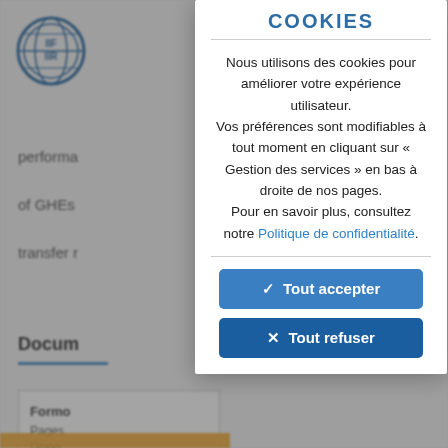[Figure (screenshot): Background webpage showing IIF/IIR logo, navigation, article text about GHEs and heat transfer, document section with form elements, partially visible behind cookie consent modal overlay.]
COOKIES
Nous utilisons des cookies pour améliorer votre expérience utilisateur. Vos préférences sont modifiables à tout moment en cliquant sur « Gestion des services » en bas à droite de nos pages. Pour en savoir plus, consultez notre Politique de confidentialité.
✓  Tout accepter
✕  Tout refuser